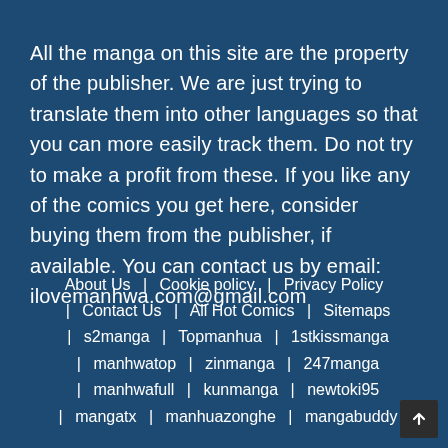All the manga on this site are the property of the publisher. We are just trying to translate them into other languages so that you can more easily track them. Do not try to make a profit from these. If you like any of the comics you get here, consider buying them from the publisher, if available. You can contact us by email: ilovemanhwa.com@gmail.com
About Us | Cookie policy | Privacy Policy | Contact Us | All Hot Comics | Sitemaps | s2manga | Topmanhua | 1stkissmanga | manhwatop | zinmanga | 247manga | manhwafull | kunmanga | newtoki95 | mangatx | manhuazonghe | mangabuddy